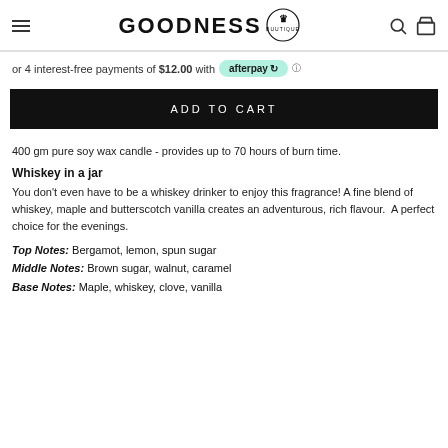GOODNESS BUUTIQUE
or 4 interest-free payments of $12.00 with afterpay
ADD TO CART
400 gm pure soy wax candle - provides up to 70 hours of burn time.
Whiskey in a jar
You don't even have to be a whiskey drinker to enjoy this fragrance! A fine blend of whiskey, maple and butterscotch vanilla creates an adventurous, rich flavour.  A perfect choice for the evenings.
Top Notes: Bergamot, lemon, spun sugar
Middle Notes: Brown sugar, walnut, caramel
Base Notes: Maple, whiskey, clove, vanilla